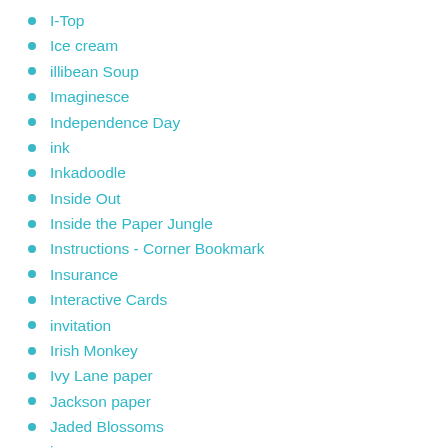I-Top
Ice cream
illibean Soup
Imaginesce
Independence Day
ink
Inkadoodle
Inside Out
Inside the Paper Jungle
Instructions - Corner Bookmark
Insurance
Interactive Cards
invitation
Irish Monkey
Ivy Lane paper
Jackson paper
Jaded Blossoms
jar
Jennifer McLean
Jerry's Artarama
Jillibean Soup
Joann Store